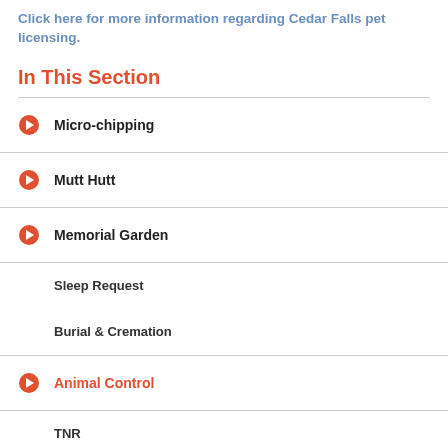Click here for more information regarding Cedar Falls pet licensing.
In This Section
Micro-chipping
Mutt Hutt
Memorial Garden
Sleep Request
Burial & Cremation
Animal Control
TNR
...